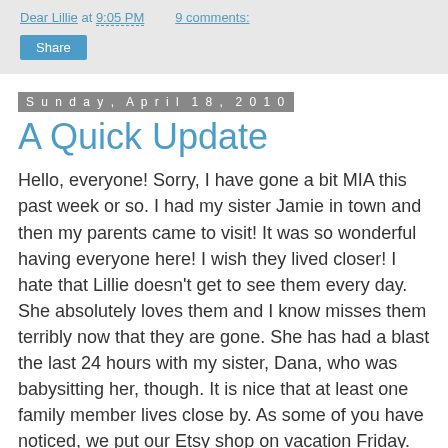Dear Lillie at 9:05 PM   9 comments:
Share
Sunday, April 18, 2010
A Quick Update
Hello, everyone! Sorry, I have gone a bit MIA this past week or so. I had my sister Jamie in town and then my parents came to visit! It was so wonderful having everyone here! I wish they lived closer! I hate that Lillie doesn't get to see them every day. She absolutely loves them and I know misses them terribly now that they are gone. She has had a blast the last 24 hours with my sister, Dana, who was babysitting her, though. It is nice that at least one family member lives close by. As some of you have noticed, we put our Etsy shop on vacation Friday. We have been so swamped and were starting to get backed up with orders so we did that so we could catch up a bit. Then we had a bit of